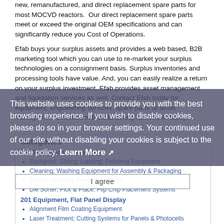new, remanufactured, and direct replacement spare parts for most MOCVD reactors. Our direct replacement spare parts meet or exceed the original OEM specifications and can significantly reduce you Cost of Operations.
Efab buys your surplus assets and provides a web based, B2B marketing tool which you can use to re-market your surplus technologies on a consignment basis. Surplus inventories and processing tools have value. And, you can easily realize a return on your surplus investment. Efab provides asset management and liquidation services as well. Contact Efab today for equipment, engineering services, spare parts or asset management assistance. Efab Enabling Tomorrow. Today.
This website uses cookies to provide you with the best browsing experience. If you wish to disable cookies, please do so in your browser settings. Your continued use of our site without disabling your cookies is subject to the cookie policy. Learn More
Categories
200 Equipment, Assembly
Backgrind; Slicing; Lapping; Polishing Equipment
Cleaning; Washing Equipment for Assembly & Packaging
Device Handling; Feeding Systems
Die Sorter; Pick & Place; Flip Chip Placement Systems
201 Equipment, Flat Panel Display
Alignment Film Coating Equipment
Laser Treatment; Cutting Systems for Panels & Photocells
I agree